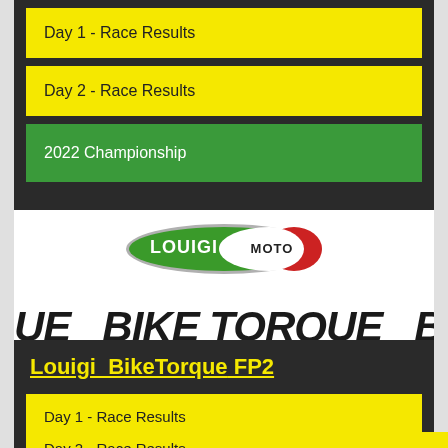Day 1 - Race Results
Day 2 - Race Results
2022 Championship
[Figure (logo): Louigi Moto logo — green and white oval with LOUIGI in white text and MOTO in a red/white/green Italian-flag style badge, above BIKE TORQUE RACING banner text]
Louigi_BikeTorque FP2
Day 1 - Race Results
Day 2 - Race Results